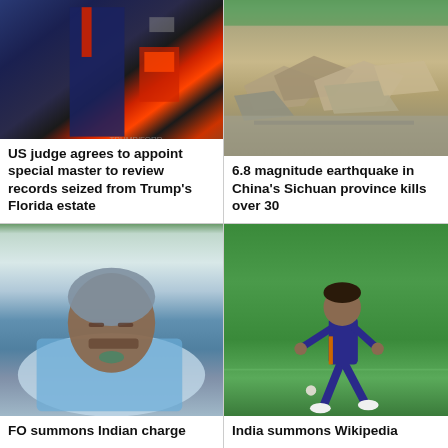[Figure (photo): Man in dark suit with red tie walking in front of a vehicle with brake lights]
US judge agrees to appoint special master to review records seized from Trump's Florida estate
[Figure (photo): Rubble and debris from earthquake damage on a street in China]
6.8 magnitude earthquake in China's Sichuan province kills over 30
[Figure (photo): Man lying in hospital bed wearing surgical cap and blue hospital gown]
FO summons Indian charge
[Figure (photo): Cricket player in blue India uniform fielding on green pitch]
India summons Wikipedia